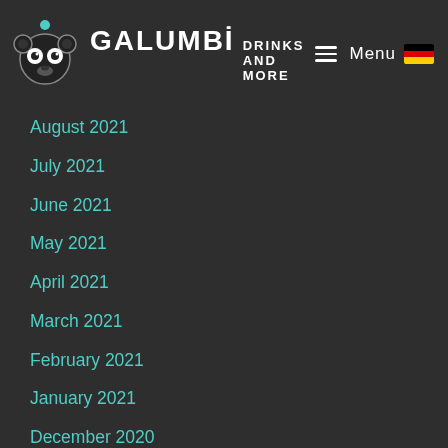GALUMBI DRINKS AND MORE — Menu
August 2021
July 2021
June 2021
May 2021
April 2021
March 2021
February 2021
January 2021
December 2020
November 2020
October 2020
September 2020
August 2020
July 2020
June 2020
May 2020